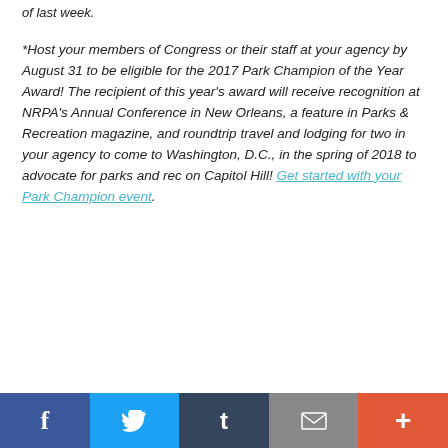of last week.
*Host your members of Congress or their staff at your agency by August 31 to be eligible for the 2017 Park Champion of the Year Award! The recipient of this year's award will receive recognition at NRPA's Annual Conference in New Orleans, a feature in Parks & Recreation magazine, and roundtrip travel and lodging for two in your agency to come to Washington, D.C., in the spring of 2018 to advocate for parks and rec on Capitol Hill! Get started with your Park Champion event.
Social share bar: Facebook, Twitter, Tumblr, Email, More